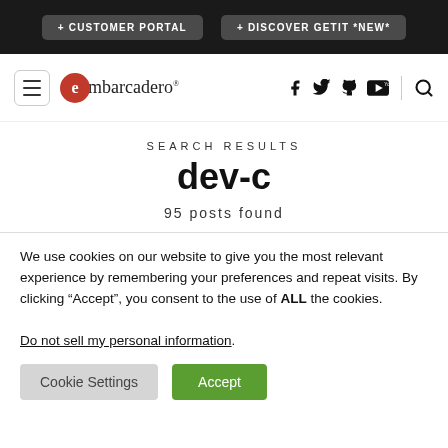+ CUSTOMER PORTAL   + DISCOVER GETIT *NEW*
[Figure (logo): Embarcadero logo with hamburger menu, social icons (Facebook, Twitter, GitHub, YouTube), and search icon]
SEARCH RESULTS
dev-c
95 posts found
We use cookies on our website to give you the most relevant experience by remembering your preferences and repeat visits. By clicking “Accept”, you consent to the use of ALL the cookies.
Do not sell my personal information.
Cookie Settings   Accept